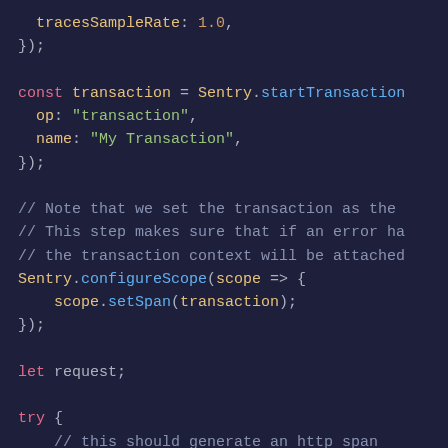[Figure (screenshot): Code editor screenshot showing JavaScript code with syntax highlighting on a dark navy background. The code shows tracesSampleRate, transaction setup with Sentry.startTransaction, Sentry.configureScope, let request, and try block with http.get call.]